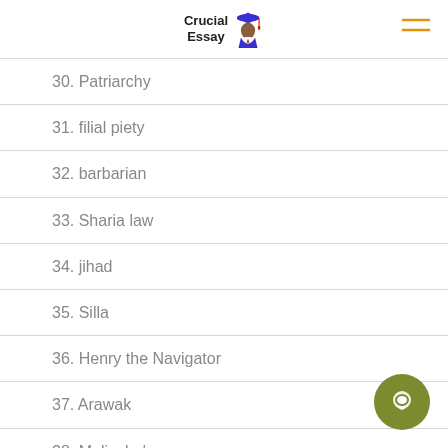Crucial Essay
30. Patriarchy
31. filial piety
32. barbarian
33. Sharia law
34. jihad
35. Silla
36. Henry the Navigator
37. Arawak
38. Malinche'